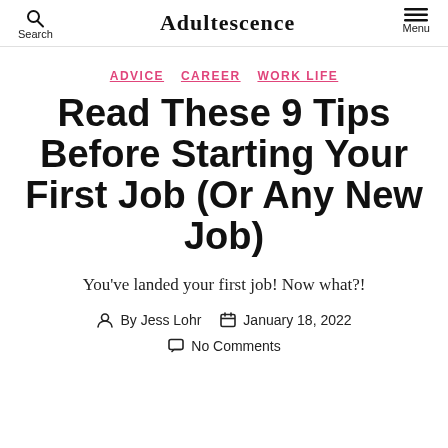Search  Adultescence  Menu
ADVICE  CAREER  WORK LIFE
Read These 9 Tips Before Starting Your First Job (Or Any New Job)
You've landed your first job! Now what?!
By Jess Lohr  January 18, 2022  No Comments